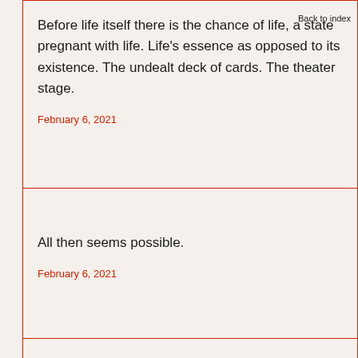Back to index
Before life itself there is the chance of life, a state pregnant with life. Life's essence as opposed to its existence. The undealt deck of cards. The theater stage.
February 6, 2021
All then seems possible.
February 6, 2021